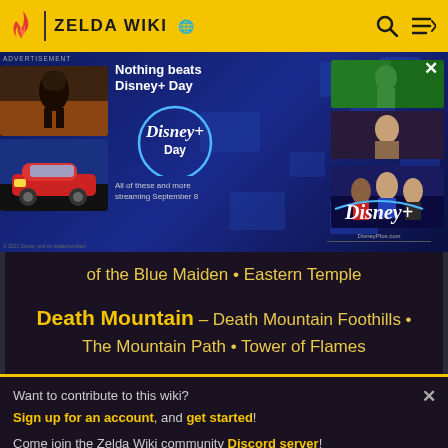ZELDA WIKI
[Figure (screenshot): Disney+ Day advertisement banner showing Disney+ Day logo, movie thumbnails from Pixar and Marvel films, tagline 'Nothing beats Disney+ Day', and streaming date 'September 8']
of the Blue Maiden • Eastern Temple
Death Mountain — Death Mountain Foothills • The Mountain Path • Tower of Flames
Want to contribute to this wiki? Sign up for an account, and get started! Come join the Zelda Wiki community Discord server!